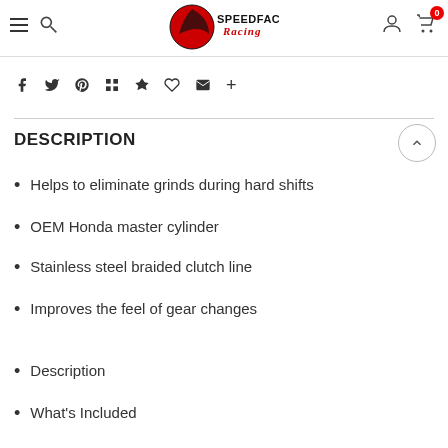SpeedFactory Racing — navigation header with hamburger menu, search, logo, user icon, cart (0)
[Figure (other): Social sharing icons row: Facebook, Twitter, Pinterest, Grid/apps, Bookmark, Heart, Email, Plus]
DESCRIPTION
Helps to eliminate grinds during hard shifts
OEM Honda master cylinder
Stainless steel braided clutch line
Improves the feel of gear changes
Description
What's Included